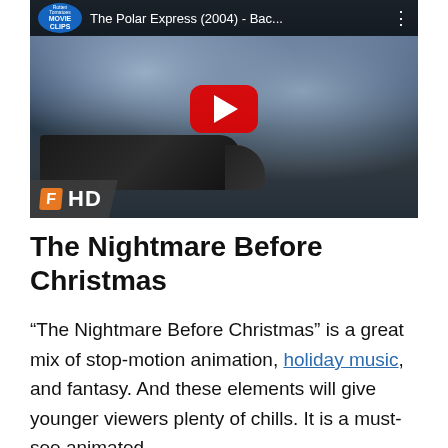[Figure (screenshot): YouTube video thumbnail for 'The Polar Express (2004) - Bac...' from Rotten Tomatoes Movie Clips channel, showing a steam train scene at night with a YouTube play button overlay and an HD badge in the lower left corner]
The Nightmare Before Christmas
“The Nightmare Before Christmas” is a great mix of stop-motion animation, holiday music, and fantasy. And these elements will give younger viewers plenty of chills. It is a must-see animated Christmas movie in a holiday season.